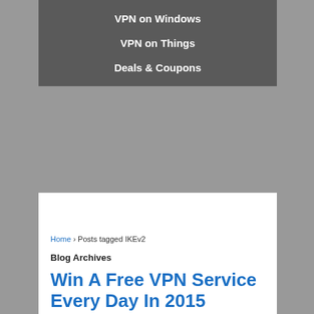VPN on Windows
VPN on Things
Deals & Coupons
Home › Posts tagged IKEv2
Blog Archives
Win A Free VPN Service Every Day In 2015